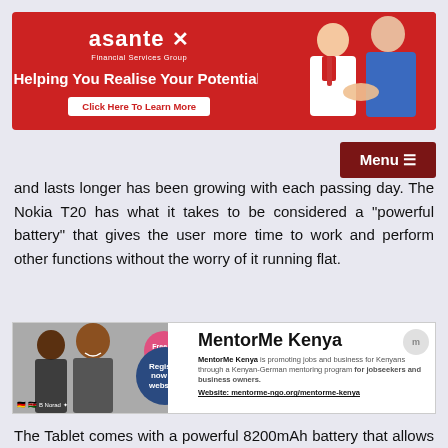[Figure (illustration): Asante Financial Services Group advertisement banner with red background, logo, tagline 'Helping You Realise Your Potential.', 'Click Here To Learn More' button, and illustration of two people shaking hands]
[Figure (illustration): Menu button with hamburger icon, dark red background]
and lasts longer has been growing with each passing day. The Nokia T20 has what it takes to be considered a "powerful battery" that gives the user more time to work and perform other functions without the worry of it running flat.
[Figure (illustration): MentorMe Kenya advertisement. Free of charge. Register now on website! MentorMe Kenya is promoting jobs and business for Kenyans through a Kenyan-German mentoring program for jobseekers and business owners. Website: mentorme-ngo.org/mentorme-kenya]
The Tablet comes with a powerful 8200mAh battery that allows for 15 hours of surfing the web, seven